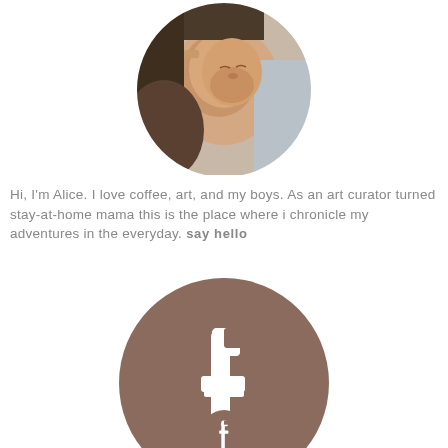[Figure (photo): Circular cropped photo of a sleeping newborn baby being held]
Hi, I'm Alice. I love coffee, art, and my boys. As an art curator turned stay-at-home mama this is the place where i chronicle my adventures in the everyday. say hello
[Figure (logo): Facebook logo icon — white letter f on a brownish-mauve circle background, large, partially cut off at bottom]
[Figure (logo): Partial Facebook logo icon at very bottom of page, partially cut off]